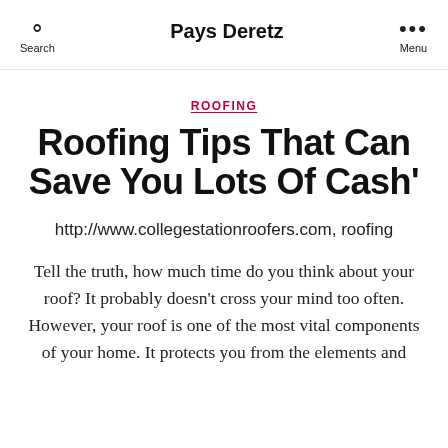Pays Deretz
ROOFING
Roofing Tips That Can Save You Lots Of Cash'
http://www.collegestationroofers.com, roofing
Tell the truth, how much time do you think about your roof? It probably doesn't cross your mind too often. However, your roof is one of the most vital components of your home. It protects you from the elements and